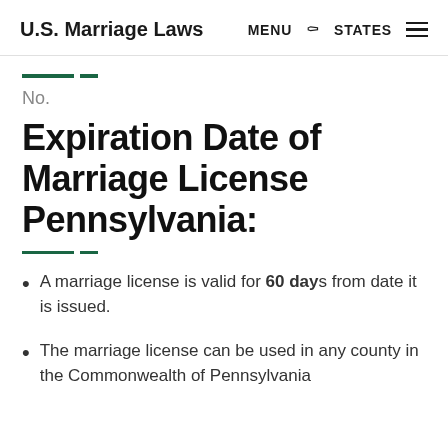U.S. Marriage Laws  MENU  🔍  STATES  ☰
No.
Expiration Date of Marriage License Pennsylvania:
A marriage license is valid for 60 days from date it is issued.
The marriage license can be used in any county in the Commonwealth of Pennsylvania